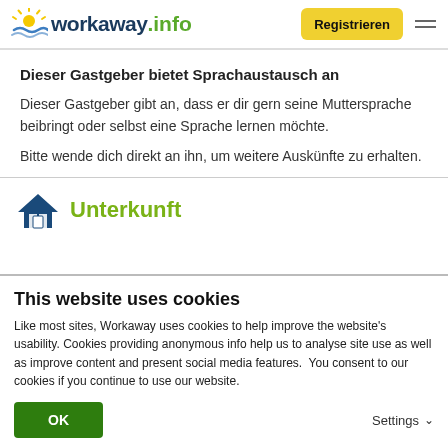workaway.info — Registrieren
Dieser Gastgeber bietet Sprachaustausch an
Dieser Gastgeber gibt an, dass er dir gern seine Muttersprache beibringt oder selbst eine Sprache lernen möchte.
Bitte wende dich direkt an ihn, um weitere Auskünfte zu erhalten.
Unterkunft
This website uses cookies
Like most sites, Workaway uses cookies to help improve the website's usability. Cookies providing anonymous info help us to analyse site use as well as improve content and present social media features.  You consent to our cookies if you continue to use our website.
OK    Settings